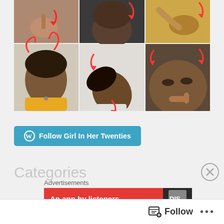[Figure (photo): A 2x3 grid of selfie/video call screenshots showing people with red arrow/devil horn overlays on a social media or video app UI]
Follow Girl In Her Twenties
Categories
Advertisements
An app by listeners
Follow
...